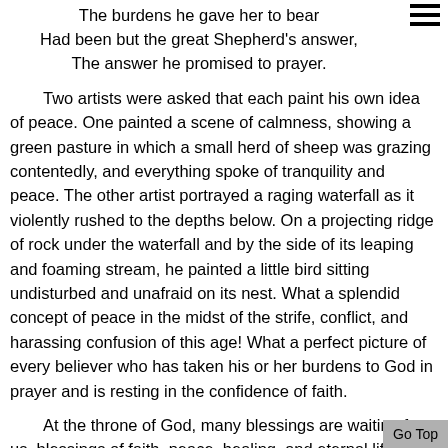The burdens he gave her to bear
Had been but the great Shepherd's answer,
The answer he promised to prayer.
Two artists were asked that each paint his own idea of peace. One painted a scene of calmness, showing a green pasture in which a small herd of sheep was grazing contentedly, and everything spoke of tranquility and peace. The other artist portrayed a raging waterfall as it violently rushed to the depths below. On a projecting ridge of rock under the waterfall and by the side of its leaping and foaming stream, he painted a little bird sitting undisturbed and unafraid on its nest. What a splendid concept of peace in the midst of the strife, conflict, and harassing confusion of this age! What a perfect picture of every believer who has taken his or her burdens to God in prayer and is resting in the confidence of faith.
At the throne of God, many blessings are waiting for us, blessings of faith, peace, healing, and eternal life. Let us go to Him in prayer and be blessed.